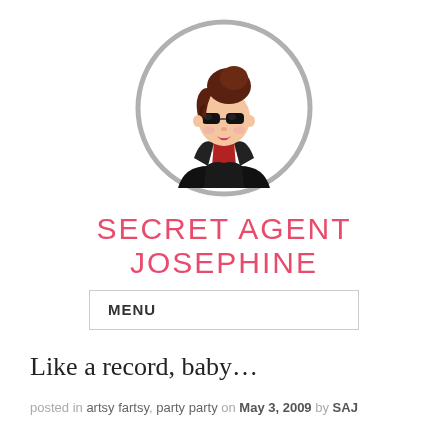[Figure (illustration): Circular avatar illustration of a cartoon woman with brown hair in a bun, wearing black sunglasses and a black jacket, inside a gray circle border]
SECRET AGENT JOSEPHINE
MENU
Like a record, baby…
posted in artsy fartsy, party party on May 3, 2009 by SAJ